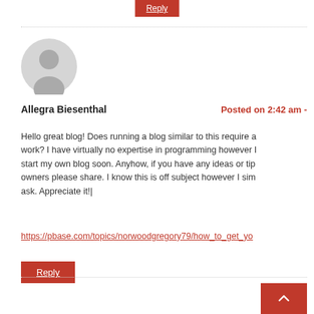[Figure (illustration): Gray user avatar circle icon]
Allegra Biesenthal
Posted on 2:42 am -
Hello great blog! Does running a blog similar to this require a work? I have virtually no expertise in programming however I start my own blog soon. Anyhow, if you have any ideas or tip owners please share. I know this is off subject however I sim ask. Appreciate it!|
https://pbase.com/topics/norwoodgregory79/how_to_get_yo
Reply